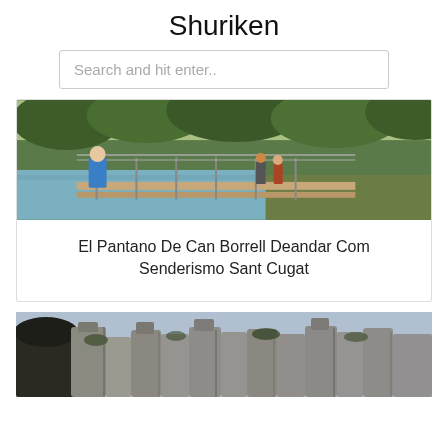Shuriken
Search and hit enter..
[Figure (photo): People walking on a wooden suspension bridge over a river in a forested area. A man in blue shirt is visible in the foreground.]
El Pantano De Can Borrell Deandar Com Senderismo Sant Cugat
[Figure (photo): Aerial or elevated view of dramatic rocky mountain formations with vertical cliff faces, Montserrat-style geology with sparse vegetation.]